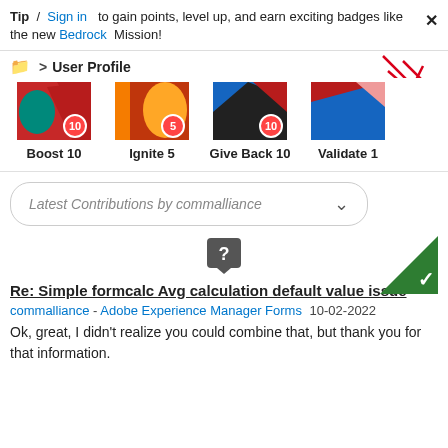Tip / Sign in to gain points, level up, and earn exciting badges like the new Bedrock Mission!
User Profile
[Figure (illustration): Four badge icons with colored abstract designs. Boost 10 badge with red/teal design and number 10, Ignite 5 badge with orange/red design and number 5, Give Back 10 badge with red/blue/black design and number 10, Validate 1 badge with red/blue design.]
Boost 10   Ignite 5   Give Back 10   Validate 1
Latest Contributions by commalliance
[Figure (illustration): Green triangle in top-right corner with white checkmark. Gray question mark speech bubble icon in center.]
Re: Simple formcalc Avg calculation default value issue
commalliance - Adobe Experience Manager Forms 10-02-2022
Ok, great, I didn't realize you could combine that, but thank you for that information.